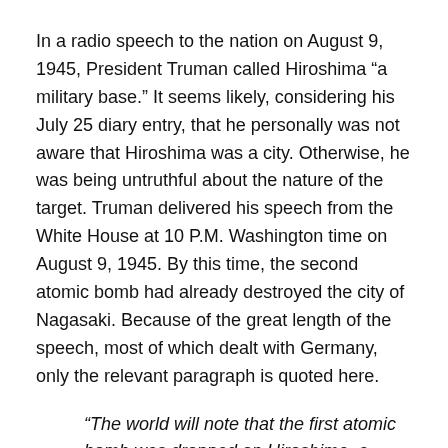In a radio speech to the nation on August 9, 1945, President Truman called Hiroshima “a military base.” It seems likely, considering his July 25 diary entry, that he personally was not aware that Hiroshima was a city. Otherwise, he was being untruthful about the nature of the target. Truman delivered his speech from the White House at 10 P.M. Washington time on August 9, 1945. By this time, the second atomic bomb had already destroyed the city of Nagasaki. Because of the great length of the speech, most of which dealt with Germany, only the relevant paragraph is quoted here.
“The world will note that the first atomic bomb was dropped on Hiroshima, a military base. That was because we wished in this first attack to avoid, insofar as possible, the killing of civilians. But that attack is